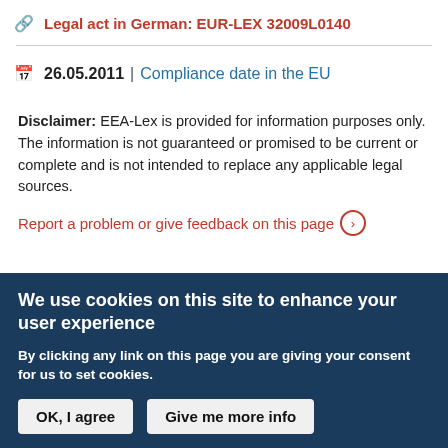Legal act in German: EUR-LEX 32009L0140
26.05.2011 | Compliance date in the EU
Disclaimer: EEA-Lex is provided for information purposes only. The information is not guaranteed or promised to be current or complete and is not intended to replace any applicable legal sources.
Report a problem or give feedback on this page
We use cookies on this site to enhance your user experience
By clicking any link on this page you are giving your consent for us to set cookies.
OK, I agree   Give me more info